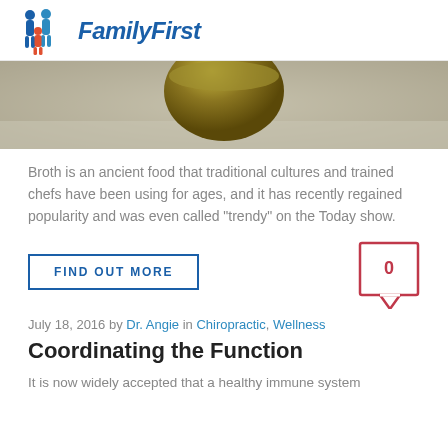FamilyFirst
[Figure (photo): Close-up photo of a bowl of broth on a textured surface]
Broth is an ancient food that traditional cultures and trained chefs have been using for ages, and it has recently regained popularity and was even called “trendy” on the Today show.
FIND OUT MORE
0
July 18, 2016 by Dr. Angie in Chiropractic, Wellness
Coordinating the Function
It is now widely accepted that a healthy immune system